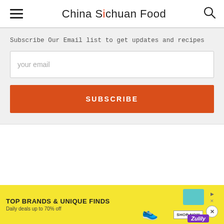China Sichuan Food
Subscribe Our Email list to get updates and recipes
your email
SUBSCRIBE
[Figure (screenshot): Advertisement banner: TOP BRANDS & UNIQUE FINDS, Daily deals up to 70% off, Zulily, Shop Now button]
TOP BRANDS & UNIQUE FINDS
Daily deals up to 70% off